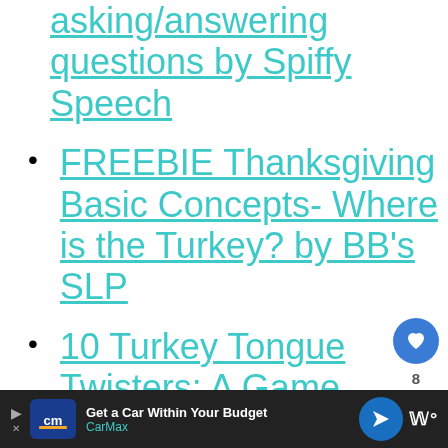asking/answering questions by Spiffy Speech
FREEBIE Thanksgiving Basic Concepts- Where is the Turkey? by BB's SLP
10 Turkey Tongue Twisters: A Game For Thanksgiving by The
[Figure (screenshot): CarMax advertisement banner: 'Get a Car Within Your Budget' with CarMax logo and navigation arrow icon]